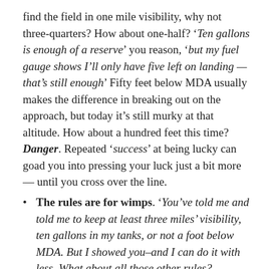find the field in one mile visibility, why not three-quarters? How about one-half? 'Ten gallons is enough of a reserve,' you reason, 'but my fuel gauge shows I'll only have five left on landing — that's still enough.' Fifty feet below MDA usually makes the difference in breaking out on the approach, but today it's still murky at that altitude. How about a hundred feet this time? Danger. Repeated 'success' at being lucky can goad you into pressing your luck just a bit more — until you cross over the line.
The rules are for wimps. 'You've told me and told me to keep at least three miles' visibility, ten gallons in my tanks, or not a foot below MDA. But I showed you–and I can do it with less. What about all those other rules? They're for